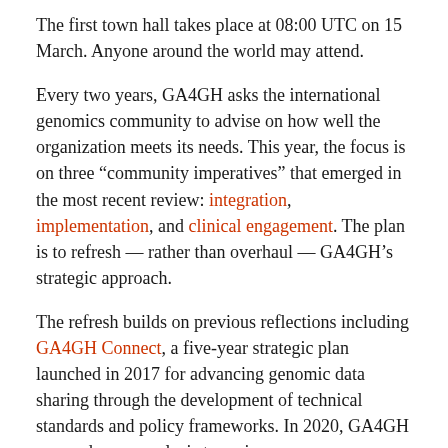The first town hall takes place at 08:00 UTC on 15 March. Anyone around the world may attend.
Every two years, GA4GH asks the international genomics community to advise on how well the organization meets its needs. This year, the focus is on three “community imperatives” that emerged in the most recent review: integration, implementation, and clinical engagement. The plan is to refresh — rather than overhaul — GA4GH’s strategic approach.
The refresh builds on previous reflections including GA4GH Connect, a five-year strategic plan launched in 2017 for advancing genomic data sharing through the development of technical standards and policy frameworks. In 2020, GA4GH pursued a gap analysis to review